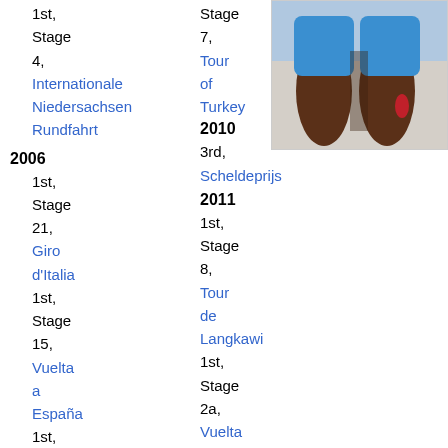1st, Stage 4, Internationale Niedersachsen Rundfahrt
[Figure (photo): Photo of cyclist legs/lower body]
Stage 7, Tour of Turkey
2010
3rd, Scheldeprijs
2006
2011
1st, Stage 21, Giro d'Italia
1st, Stage 8, Tour de Langkawi
1st, Stage 15, Vuelta a España
1st, Stage 2a, Vuelta a
1st, Stage